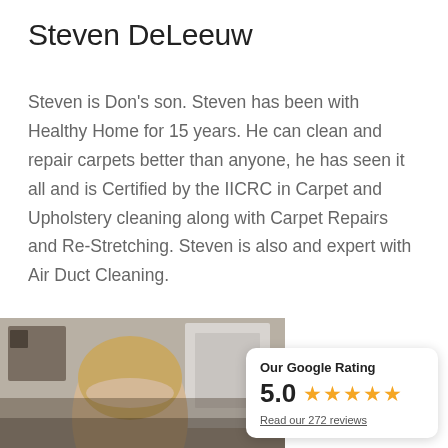Steven DeLeeuw
Steven is Don's son. Steven has been with Healthy Home for 15 years. He can clean and repair carpets better than anyone, he has seen it all and is Certified by the IICRC in Carpet and Upholstery cleaning along with Carpet Repairs and Re-Stretching. Steven is also and expert with Air Duct Cleaning.
[Figure (photo): Photo of Steven DeLeeuw, partial view showing head and shoulders]
Our Google Rating
5.0 ★★★★★
Read our 272 reviews